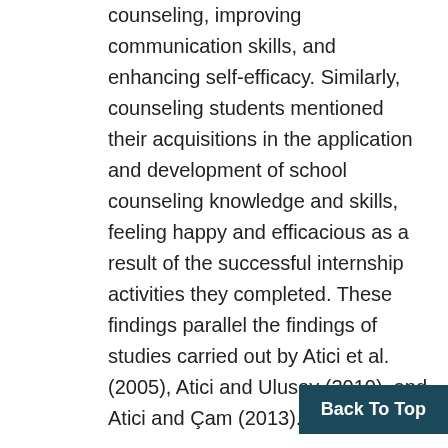counseling, improving communication skills, and enhancing self-efficacy. Similarly, counseling students mentioned their acquisitions in the application and development of school counseling knowledge and skills, feeling happy and efficacious as a result of the successful internship activities they completed. These findings parallel the findings of studies carried out by Atici et al. (2005), Atici and Ulusoy (2010), and Atici and Çam (2013).
The professional school counselors indicated that they were able to help counseli... by observing them and giving feedback,